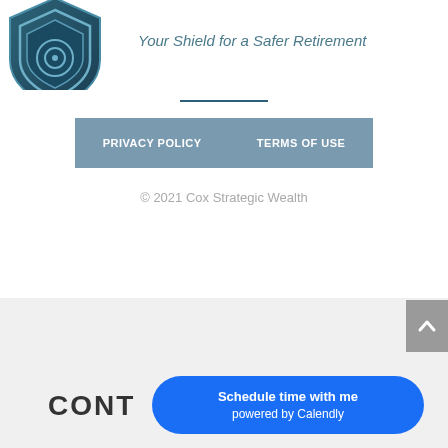[Figure (logo): Dark teal shield logo icon, partially cropped at top-left corner]
Your Shield for a Safer Retirement
PRIVACY POLICY    TERMS OF USE
© 2021 Cox Strategic Wealth
[Figure (screenshot): Scroll-to-top button (gray background with upward caret arrow) at right edge]
CONT
Schedule time with me powered by Calendly